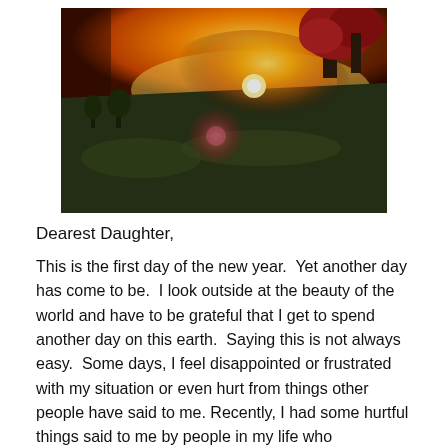[Figure (photo): Landscape photograph of a grassy hillside at sunset with warm golden-orange light on the horizon, red-leafed trees in the upper right, and a lens flare visible in the center of the image.]
Dearest Daughter,
This is the first day of the new year.  Yet another day has come to be.  I look outside at the beauty of the world and have to be grateful that I get to spend another day on this earth.  Saying this is not always easy.  Some days, I feel disappointed or frustrated with my situation or even hurt from things other people have said to me. Recently, I had some hurtful things said to me by people in my life who